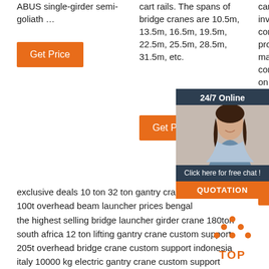ABUS single-girder semi-goliath …
cart rails. The spans of bridge cranes are 10.5m, 13.5m, 16.5m, 19.5m, 22.5m, 25.5m, 28.5m, 31.5m, etc.
can help you reduce the initial investment in plant construction, increase productivity, reduce daily maintenance, reduce power consumption, obtain a return on investment.
[Figure (other): Get Price orange button (column 1)]
[Figure (other): Get Price orange button (column 2)]
[Figure (other): 24/7 Online chat widget with customer service agent photo, 'Click here for free chat!' text and QUOTATION button]
[Figure (other): Get Price orange button (column 3, partially hidden)]
exclusive deals 10 ton 32 ton gantry crane precast
100t overhead beam launcher prices bengal
the highest selling bridge launcher girder crane 180ton
south africa 12 ton lifting gantry crane custom support
205t overhead bridge crane custom support indonesia
italy 10000 kg electric gantry crane custom support
philippines pendent control bridge crane importer
dual speed bridge crane dealer america
100 ton concrete beam launcher crane importer uzbekistan
[Figure (other): TOP icon with orange arrow/hat design and orange TOP text label]